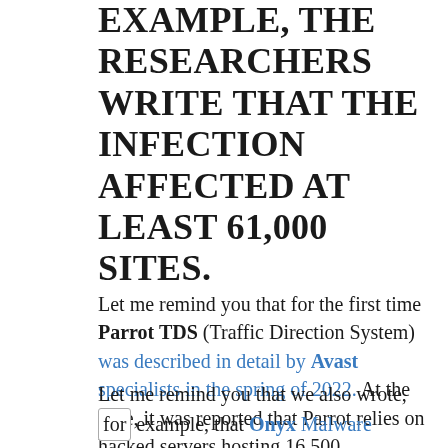EXAMPLE, THE RESEARCHERS WRITE THAT THE INFECTION AFFECTED AT LEAST 61,000 SITES.
Let me remind you that for the first time Parrot TDS (Traffic Direction System) was described in detail by Avast specialists in the spring of 2022. At the time, it was reported that Parrot relies on hacked servers hosting 16,500 university, municipal government, adult content and personal blogs.
Let me remind you that we also wrote, for example, that Onyx Malware Destroys